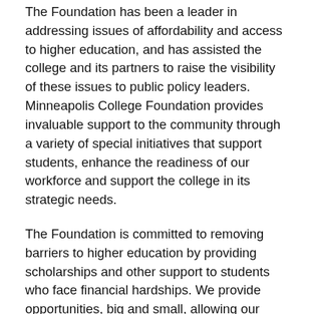The Foundation has been a leader in addressing issues of affordability and access to higher education, and has assisted the college and its partners to raise the visibility of these issues to public policy leaders. Minneapolis College Foundation provides invaluable support to the community through a variety of special initiatives that support students, enhance the readiness of our workforce and support the college in its strategic needs.
The Foundation is committed to removing barriers to higher education by providing scholarships and other support to students who face financial hardships. We provide opportunities, big and small, allowing our students to realize their dream of college.